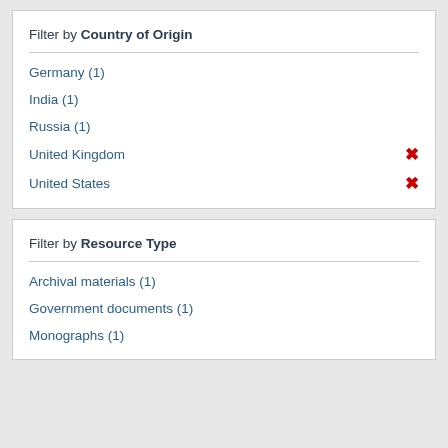Filter by Country of Origin
Germany (1)
India (1)
Russia (1)
United Kingdom
United States
Filter by Resource Type
Archival materials (1)
Government documents (1)
Monographs (1)